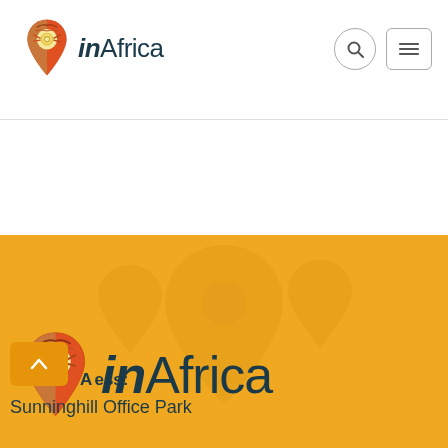[Figure (logo): inAfrica logo with decorative map pin icon in top navigation bar]
[Figure (logo): inAfrica logo with decorative map pin icon in gold footer section]
Address:
Sunninghill Office Park